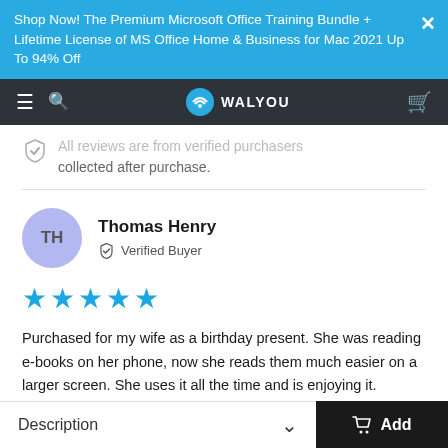Shop Now! The Premium Microsoft Office Training Bundle + Lifetime License of MS Office Home & Business for Mac 2021 Up To 94% Off
[Figure (screenshot): Walyou website navigation bar with hamburger menu, search icon, logo, and cart icon on dark background]
All reviews are from verified purchasers collected after purchase.
Thomas Henry
Verified Buyer
[Figure (infographic): 5 blue stars rating]
Purchased for my wife as a birthday present. She was reading e-books on her phone, now she reads them much easier on a larger screen. She uses it all the time and is enjoying it.
Description  Add